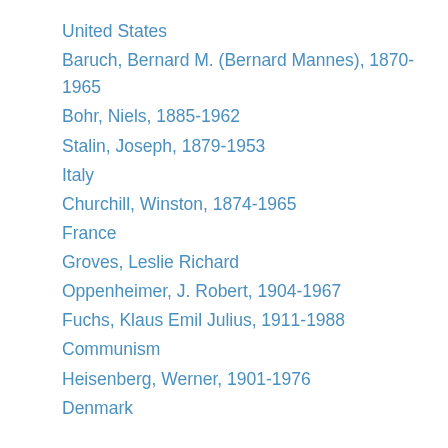United States
Baruch, Bernard M. (Bernard Mannes), 1870-1965
Bohr, Niels, 1885-1962
Stalin, Joseph, 1879-1953
Italy
Churchill, Winston, 1874-1965
France
Groves, Leslie Richard
Oppenheimer, J. Robert, 1904-1967
Fuchs, Klaus Emil Julius, 1911-1988
Communism
Heisenberg, Werner, 1901-1976
Denmark